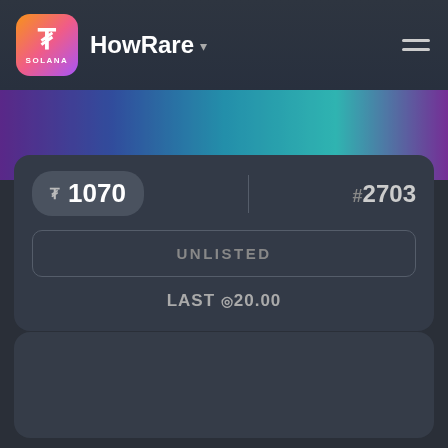HowRare
[Figure (screenshot): Colorful NFT artwork strip showing purple, teal and blue gradient colors]
R 1070
# 2703
UNLISTED
LAST ◎20.00